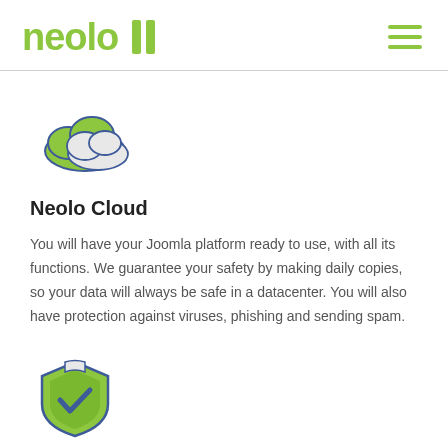neolo
[Figure (illustration): Green cloud icon with white cloud overlay, outlined in blue, representing cloud hosting service]
Neolo Cloud
You will have your Joomla platform ready to use, with all its functions. We guarantee your safety by making daily copies, so your data will always be safe in a datacenter. You will also have protection against viruses, phishing and sending spam.
[Figure (illustration): Shield icon with green background and blue checkmark, outlined in blue, representing security/protection]